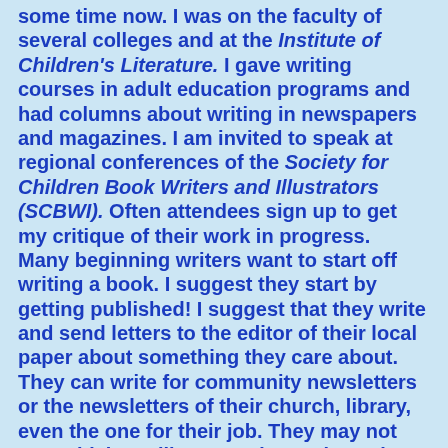some time now. I was on the faculty of several colleges and at the Institute of Children's Literature. I gave writing courses in adult education programs and had columns about writing in newspapers and magazines. I am invited to speak at regional conferences of the Society for Children Book Writers and Illustrators (SCBWI). Often attendees sign up to get my critique of their work in progress.
Many beginning writers want to start off writing a book. I suggest they start by getting published! I suggest that they write and send letters to the editor of their local paper about something they care about. They can write for community newsletters or the newsletters of their church, library, even the one for their job. They may not get paid, but will get good experience in the writing world.
I like to remind beginning writers that book authors do the same thing. For example, I work on my books during the week and on weekends I work on articles, poems, and stories. Some are good enough to submit to magazines and newspapers, while others still need work. So they continue to be a work in progress.